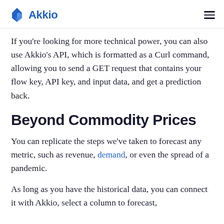Akkio
If you're looking for more technical power, you can also use Akkio's API, which is formatted as a Curl command, allowing you to send a GET request that contains your flow key, API key, and input data, and get a prediction back.
Beyond Commodity Prices
You can replicate the steps we've taken to forecast any metric, such as revenue, demand, or even the spread of a pandemic.
As long as you have the historical data, you can connect it with Akkio, select a column to forecast,